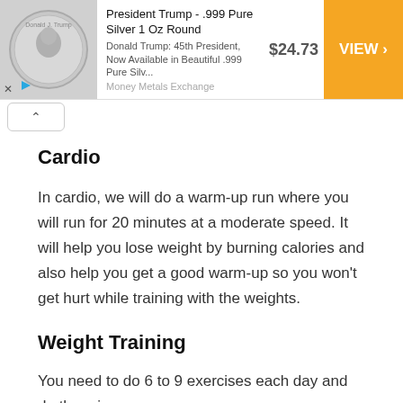[Figure (other): Advertisement banner for President Trump .999 Pure Silver 1 Oz Round coin from Money Metals Exchange, priced at $24.73 with an orange VIEW button]
Cardio
In cardio, we will do a warm-up run where you will run for 20 minutes at a moderate speed. It will help you lose weight by burning calories and also help you get a good warm-up so you won't get hurt while training with the weights.
Weight Training
You need to do 6 to 9 exercises each day and do them in a